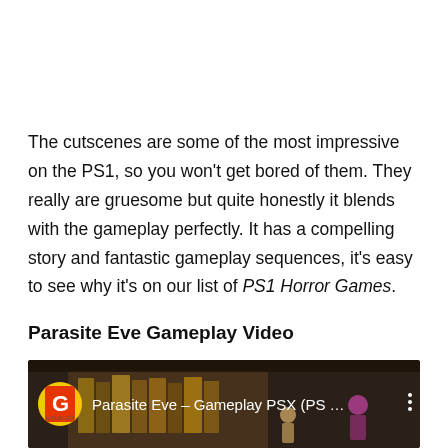The cutscenes are some of the most impressive on the PS1, so you won't get bored of them. They really are gruesome but quite honestly it blends with the gameplay perfectly. It has a compelling story and fantastic gameplay sequences, it's easy to see why it's on our list of PS1 Horror Games.
Parasite Eve Gameplay Video
[Figure (screenshot): YouTube video thumbnail showing Parasite Eve - Gameplay PSX (PS ...) with a yellow and red G logo (GamePlay) on left, white title text, three-dot menu icon on right, and game scene background showing bookshelves and characters]